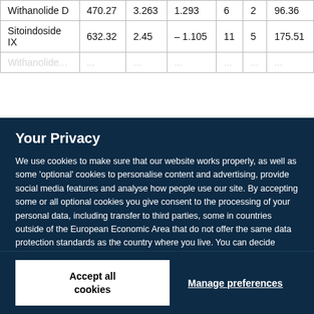| Withanolide D | 470.27 | 3.263 | 1.293 | 6 | 2 | 96.36 |
| Sitoindoside IX | 632.32 | 2.45 | – 1.105 | 11 | 5 | 175.51 |
| Withanolide... | ... | ... | ... | ... | ... | ... |
Your Privacy
We use cookies to make sure that our website works properly, as well as some 'optional' cookies to personalise content and advertising, provide social media features and analyse how people use our site. By accepting some or all optional cookies you give consent to the processing of your personal data, including transfer to third parties, some in countries outside of the European Economic Area that do not offer the same data protection standards as the country where you live. You can decide which optional cookies to accept by clicking on 'Manage Settings', where you can also find more information about how your personal data is processed. Further information can be found in our privacy policy.
Accept all cookies
Manage preferences